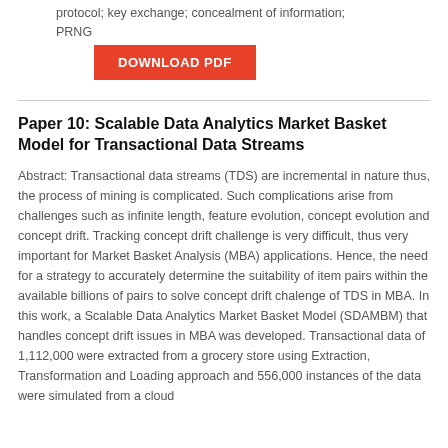protocol; key exchange; concealment of information; PRNG
DOWNLOAD PDF
Paper 10: Scalable Data Analytics Market Basket Model for Transactional Data Streams
Abstract: Transactional data streams (TDS) are incremental in nature thus, the process of mining is complicated. Such complications arise from challenges such as infinite length, feature evolution, concept evolution and concept drift. Tracking concept drift challenge is very difficult, thus very important for Market Basket Analysis (MBA) applications. Hence, the need for a strategy to accurately determine the suitability of item pairs within the available billions of pairs to solve concept drift chalenge of TDS in MBA. In this work, a Scalable Data Analytics Market Basket Model (SDAMBM) that handles concept drift issues in MBA was developed. Transactional data of 1,112,000 were extracted from a grocery store using Extraction, Transformation and Loading approach and 556,000 instances of the data were simulated from a cloud